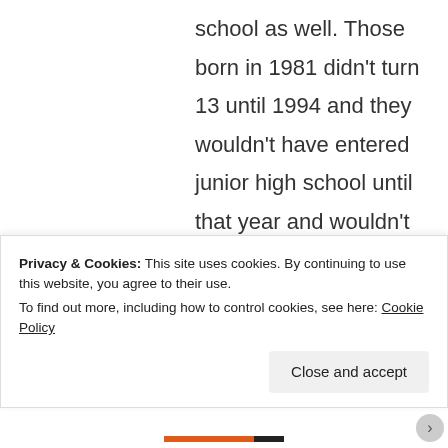school as well. Those born in 1981 didn't turn 13 until 1994 and they wouldn't have entered junior high school until that year and wouldn't have entered high school until 1996. Those born in 1984 would have been in MIDDLE
Privacy & Cookies: This site uses cookies. By continuing to use this website, you agree to their use.
To find out more, including how to control cookies, see here: Cookie Policy
Close and accept